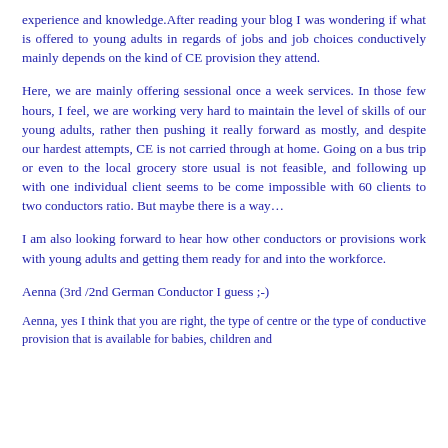experience and knowledge.After reading your blog I was wondering if what is offered to young adults in regards of jobs and job choices conductively mainly depends on the kind of CE provision they attend.
Here, we are mainly offering sessional once a week services. In those few hours, I feel, we are working very hard to maintain the level of skills of our young adults, rather then pushing it really forward as mostly, and despite our hardest attempts, CE is not carried through at home. Going on a bus trip or even to the local grocery store usual is not feasible, and following up with one individual client seems to be come impossible with 60 clients to two conductors ratio. But maybe there is a way…
I am also looking forward to hear how other conductors or provisions work with young adults and getting them ready for and into the workforce.
Aenna (3rd /2nd German Conductor I guess ;-)
Aenna, yes I think that you are right, the type of centre or the type of conductive provision that is available for babies, children and